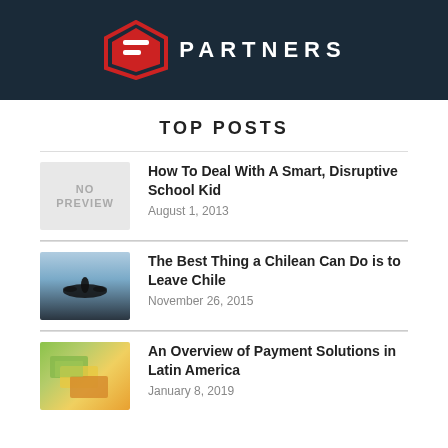[Figure (logo): Dark navy banner with partial logo (hexagon/shield shape in red and white) and 'PARTNERS' text in white letters on dark background]
TOP POSTS
[Figure (photo): No preview placeholder (light gray box with 'NO PREVIEW' text)]
How To Deal With A Smart, Disruptive School Kid
August 1, 2013
[Figure (photo): Silhouette of an airplane against a light blue sky]
The Best Thing a Chilean Can Do is to Leave Chile
November 26, 2015
[Figure (photo): Overhead view of colorful paper currency bills from various countries]
An Overview of Payment Solutions in Latin America
January 8, 2019